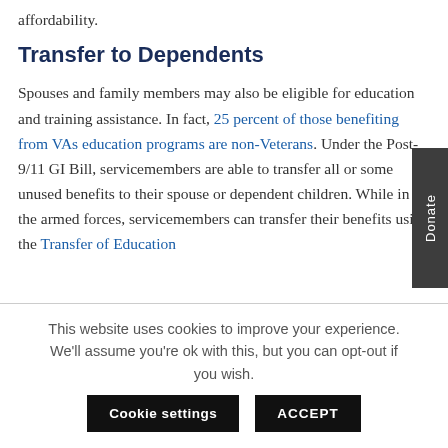affordability.
Transfer to Dependents
Spouses and family members may also be eligible for education and training assistance. In fact, 25 percent of those benefiting from VAs education programs are non-Veterans. Under the Post-9/11 GI Bill, servicemembers are able to transfer all or some unused benefits to their spouse or dependent children. While in the armed forces, servicemembers can transfer their benefits using the Transfer of Education
This website uses cookies to improve your experience. We'll assume you're ok with this, but you can opt-out if you wish.
Cookie settings
ACCEPT